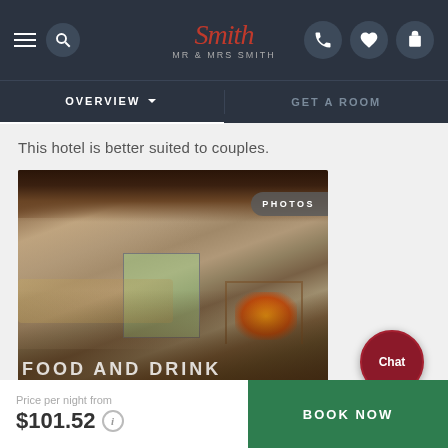Mr & Mrs Smith — OVERVIEW | GET A ROOM
This hotel is better suited to couples.
[Figure (photo): Interior of a rustic stone-walled dining room with wooden beam ceiling, open glass doors to garden, fireplace with fire, tables set for dining, and food spread on a long table. Overlaid text reads 'FOOD AND DRINK'.]
Price per night from
$101.52
BOOK NOW